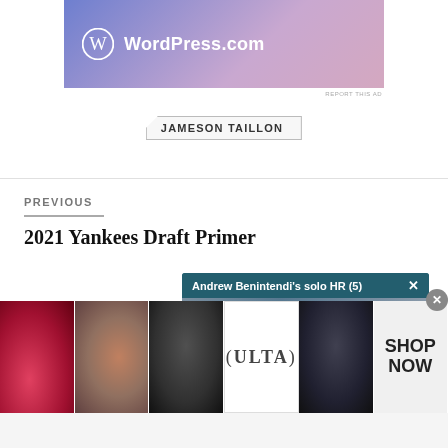[Figure (other): WordPress.com advertisement banner with gradient purple-pink background and WordPress logo]
REPORT THIS AD
JAMESON TAILLON
PREVIOUS
2021 Yankees Draft Primer
[Figure (other): Floating video notification overlay showing Andrew Benintendi's solo HR (5) with crowd image]
[Figure (other): Infolinks advertisement badge]
[Figure (other): Bottom advertisement strip with beauty/Ulta images and Shop Now call to action]